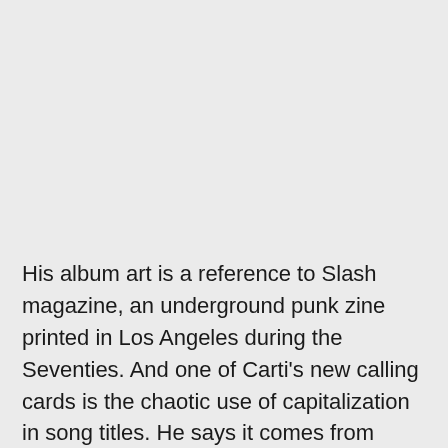His album art is a reference to Slash magazine, an underground punk zine printed in Los Angeles during the Seventies. And one of Carti's new calling cards is the chaotic use of capitalization in song titles. He says it comes from remembering back on texting with old phones when you had to use the predictive. text technology T9. "I say it in a song, too, like, 'They